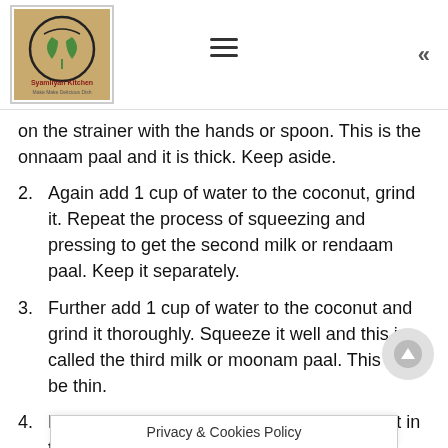Syamliyan Kitchen logo with hamburger menu and back arrow
on the strainer with the hands or spoon. This is the onnaam paal and it is thick. Keep aside.
2. Again add 1 cup of water to the coconut, grind it. Repeat the process of squeezing and pressing to get the second milk or rendaam paal. Keep it separately.
3. Further add 1 cup of water to the coconut and grind it thoroughly. Squeeze it well and this is called the third milk or moonam paal. This will be thin.
4. Donot mix all the three milk together. Keep it in th...
Privacy & Cookies Policy